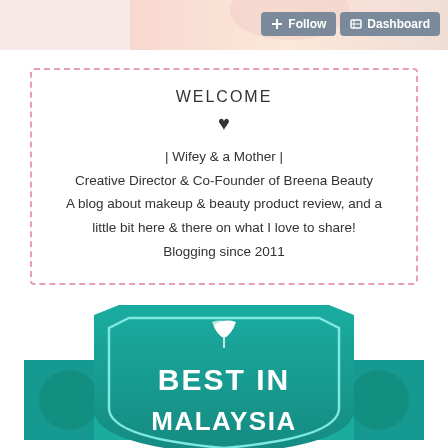[Figure (photo): Top banner photo of a person, partially visible, pink/warm tones with Follow and Dashboard buttons overlay]
WELCOME
♥
| Wifey & a Mother |
Creative Director & Co-Founder of Breena Beauty
A blog about makeup & beauty product review, and a little bit here & there on what I love to share!
Blogging since 2011
[Figure (logo): Best in Malaysia award badge/logo in teal/green color with leaf icon and text BEST IN MALAYSIA]